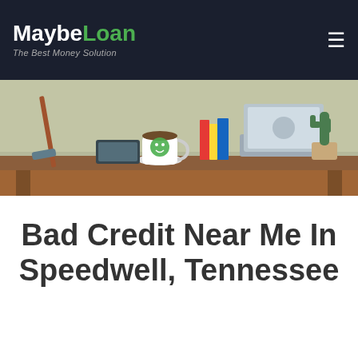MaybeLoan - The Best Money Solution
[Figure (illustration): Illustrated desk scene with laptop, coffee cup with smiley face, cactus plant, cleaning supplies, and other office items on a wooden desk]
Bad Credit Near Me In Speedwell, Tennessee